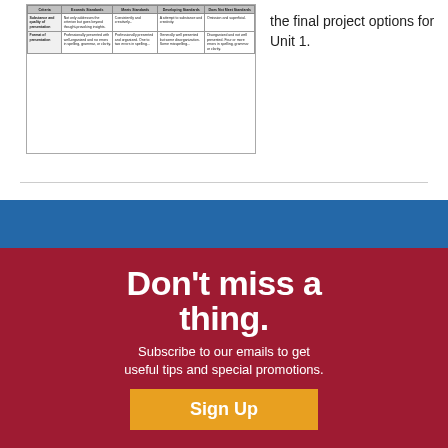[Figure (table-as-image): Rubric table with criteria columns for grading presentation]
the final project options for Unit 1.
[Figure (screenshot): Newsletter signup overlay with blue bar and red background showing 'Don't miss a thing. Subscribe to our emails to get useful tips and special promotions.' with a Sign Up button and navigation links: Company, About Us, Careers, Bible Grant Program, Resources, Privacy Policy, DEI Statement]